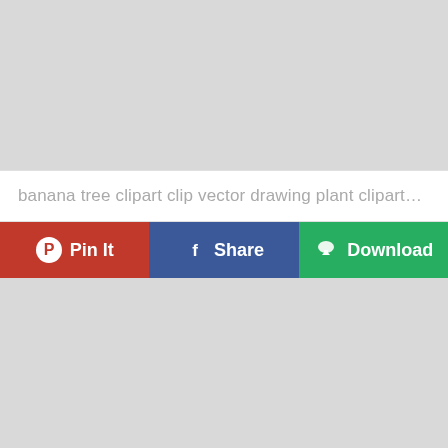[Figure (other): Large grey placeholder image area at the top of the page]
banana tree clipart clip vector drawing plant cliparts ba...
[Figure (infographic): Three action buttons: Pin It (red, Pinterest icon), Share (blue, Facebook icon), Download (green, cloud download icon)]
[Figure (other): Large grey placeholder image area at the bottom of the page]